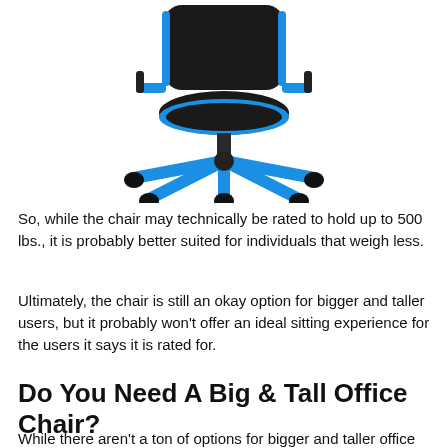[Figure (photo): A gaming/office chair with black upholstery and blue accents on the base, armrests, and frame, shown from a front-facing angle on a white background.]
So, while the chair may technically be rated to hold up to 500 lbs., it is probably better suited for individuals that weigh less.
Ultimately, the chair is still an okay option for bigger and taller users, but it probably won't offer an ideal sitting experience for the users it says it is rated for.
Do You Need A Big & Tall Office Chair?
While there aren't a ton of options for bigger and taller office